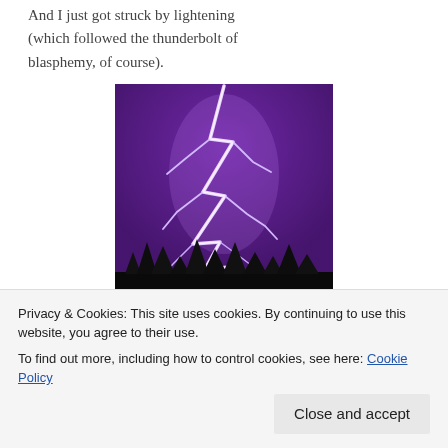And I just got struck by lightening (which followed the thunderbolt of blasphemy, of course).
[Figure (photo): A dramatic lightning strike against a purple/violet night sky, with tree silhouettes at the bottom.]
And I’m very, very sad now…
[Figure (screenshot): Partial view of a video thumbnail showing Earth globe on a dark background with a red play button visible at the bottom.]
Privacy & Cookies: This site uses cookies. By continuing to use this website, you agree to their use.
To find out more, including how to control cookies, see here: Cookie Policy